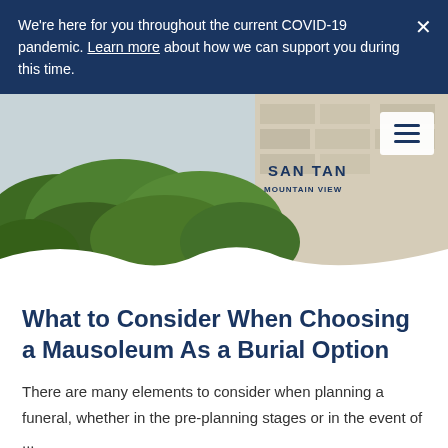We're here for you throughout the current COVID-19 pandemic. Learn more about how we can support you during this time.
[Figure (photo): Exterior photo of San Tan Mountain View cemetery/mausoleum with green hedges, a stone angel statue, and partial signage reading 'SAN TAN MOUNTAIN VIEW'. A hamburger menu icon is visible in the top right corner.]
What to Consider When Choosing a Mausoleum As a Burial Option
There are many elements to consider when planning a funeral, whether in the pre-planning stages or in the event of ...
Read More